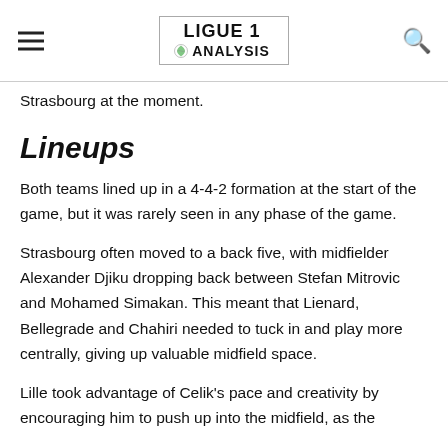LIGUE 1 ANALYSIS
Strasbourg at the moment.
Lineups
Both teams lined up in a 4-4-2 formation at the start of the game, but it was rarely seen in any phase of the game.
Strasbourg often moved to a back five, with midfielder Alexander Djiku dropping back between Stefan Mitrovic and Mohamed Simakan. This meant that Lienard, Bellegrade and Chahiri needed to tuck in and play more centrally, giving up valuable midfield space.
Lille took advantage of Celik's pace and creativity by encouraging him to push up into the midfield, as the